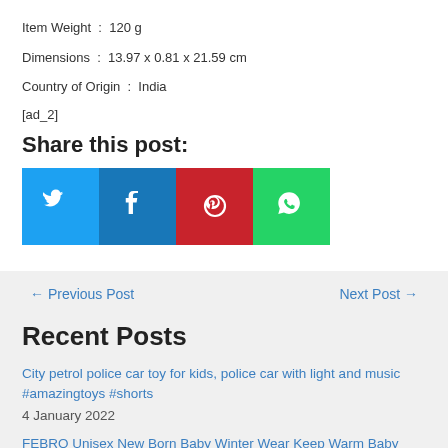Item Weight  :  120 g
Dimensions  :  13.97 x 0.81 x 21.59 cm
Country of Origin  :  India
[ad_2]
Share this post:
[Figure (infographic): Four social media share buttons: Twitter (blue), Facebook (dark blue), Pinterest (red), WhatsApp (green)]
← Previous Post    Next Post →
Recent Posts
City petrol police car toy for kids, police car with light and music #amazingtoys #shorts 4 January 2022
FEBRO Unisex New Born Baby Winter Wear Keep Warm Baby